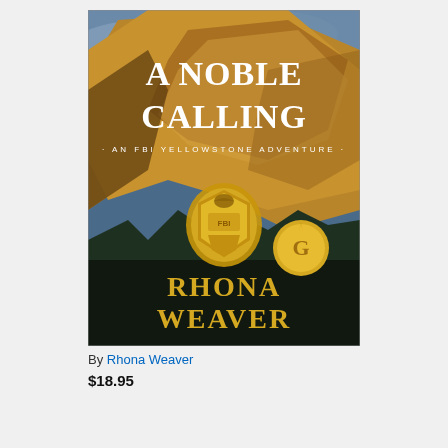[Figure (photo): Book cover of 'A Noble Calling: An FBI Yellowstone Adventure' by Rhona Weaver. Shows rocky mountain cliffs with golden light, an FBI badge in the center, a gold award seal, large white serif title text at top, and author name in gold serif text at bottom.]
By Rhona Weaver
$18.95